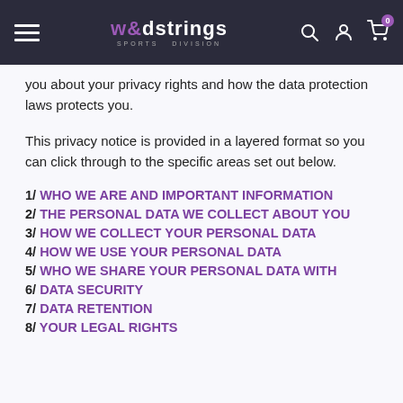w&dstrings SPORTS DIVISION
you about your privacy rights and how the data protection laws protects you.
This privacy notice is provided in a layered format so you can click through to the specific areas set out below.
1/ WHO WE ARE AND IMPORTANT INFORMATION
2/ THE PERSONAL DATA WE COLLECT ABOUT YOU
3/ HOW WE COLLECT YOUR PERSONAL DATA
4/ HOW WE USE YOUR PERSONAL DATA
5/ WHO WE SHARE YOUR PERSONAL DATA WITH
6/ DATA SECURITY
7/ DATA RETENTION
8/ YOUR LEGAL RIGHTS